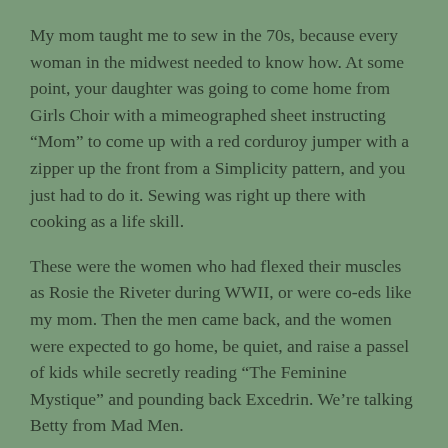My mom taught me to sew in the 70s, because every woman in the midwest needed to know how. At some point, your daughter was going to come home from Girls Choir with a mimeographed sheet instructing “Mom” to come up with a red corduroy jumper with a zipper up the front from a Simplicity pattern, and you just had to do it. Sewing was right up there with cooking as a life skill.
These were the women who had flexed their muscles as Rosie the Riveter during WWII, or were co-eds like my mom. Then the men came back, and the women were expected to go home, be quiet, and raise a passel of kids while secretly reading “The Feminine Mystique” and pounding back Excedrin. We’re talking Betty from Mad Men.
My mom wisely got out of the house as a teacher, assigning Robert Frost and Kurt Vonnegut then moving on to Marshall McLuhan and “the medium is the message.” My Dad was the director of the school, so on